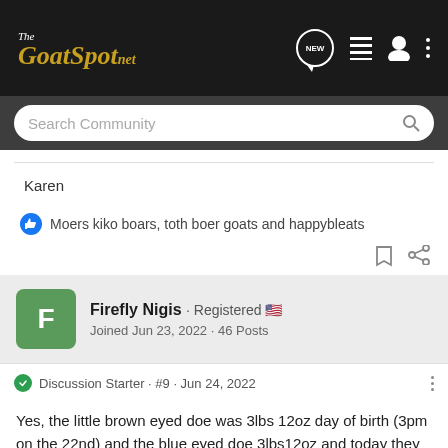The GoatSpot.net
Search Community
Karen
Moers kiko boars, toth boer goats and happybleats
Firefly Nigis · Registered 🇺🇸
Joined Jun 23, 2022 · 46 Posts
Discussion Starter · #9 · Jun 24, 2022
Yes, the little brown eyed doe was 3lbs 12oz day of birth (3pm on the 22nd) and the blue eyed doe 3lbs12oz and today they